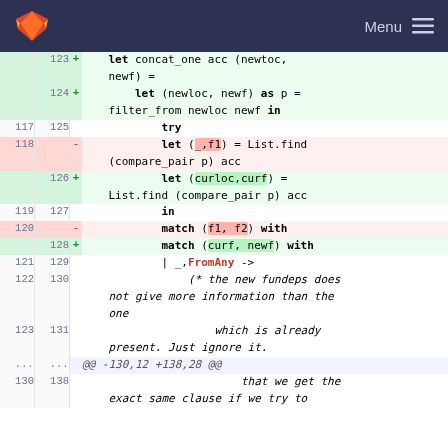GitLab — Menu
[Figure (screenshot): GitLab code diff view showing OCaml source code changes. Removed lines (118, 120) are highlighted in red, added lines (124, 126, 128) highlighted in green. Code shows renaming of variables f1/f2 to curloc/curf/newf in a pattern match expression, with surrounding context lines (117,119,121-123,130) shown in white.]